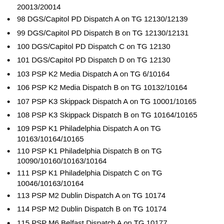20013/20014
98 DGS/Capitol PD Dispatch A on TG 12130/12139
99 DGS/Capitol PD Dispatch B on TG 12130/12131
100 DGS/Capitol PD Dispatch C on TG 12130
101 DGS/Capitol PD Dispatch D on TG 12130
103 PSP K2 Media Dispatch A on TG 6/10164
106 PSP K2 Media Dispatch B on TG 10132/10164
107 PSP K3 Skippack Dispatch A on TG 10001/10165
108 PSP K3 Skippack Dispatch B on TG 10164/10165
109 PSP K1 Philadelphia Dispatch A on TG 10163/10164/10165
110 PSP K1 Philadelphia Dispatch B on TG 10090/10160/10163/10164
111 PSP K1 Philadelphia Dispatch C on TG 10046/10163/10164
113 PSP M2 Dublin Dispatch A on TG 10174
114 PSP M2 Dublin Dispatch B on TG 10174
115 PSP M6 Belfast Dispatch A on TG 10177